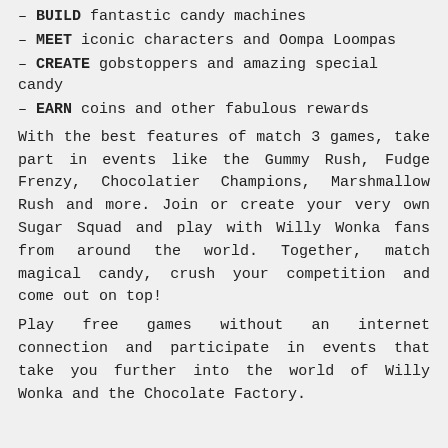– BUILD fantastic candy machines
– MEET iconic characters and Oompa Loompas
– CREATE gobstoppers and amazing special candy
– EARN coins and other fabulous rewards
With the best features of match 3 games, take part in events like the Gummy Rush, Fudge Frenzy, Chocolatier Champions, Marshmallow Rush and more. Join or create your very own Sugar Squad and play with Willy Wonka fans from around the world. Together, match magical candy, crush your competition and come out on top!
Play free games without an internet connection and participate in events that take you further into the world of Willy Wonka and the Chocolate Factory.